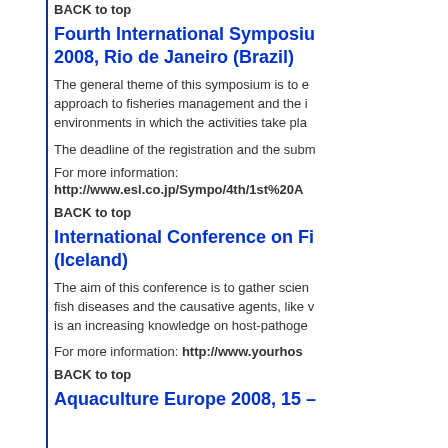BACK to top
Fourth International Symposiu... 2008, Rio de Janeiro (Brazil)
The general theme of this symposium is to e... approach to fisheries management and the i... environments in which the activities take pla...
The deadline of the registration and the subm...
For more information:
http://www.esl.co.jp/Sympo/4th/1st%20A...
BACK to top
International Conference on Fi... (Iceland)
The aim of this conference is to gather scien... fish diseases and the causative agents, like v... is an increasing knowledge on host-pathoge...
For more information: http://www.yourhos...
BACK to top
Aquaculture Europe 2008, 15 –...